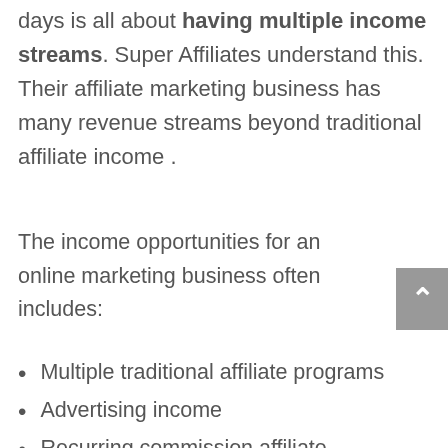days is all about having multiple income streams. Super Affiliates understand this. Their affiliate marketing business has many revenue streams beyond traditional affiliate income .
The income opportunities for an online marketing business often includes:
Multiple traditional affiliate programs
Advertising income
Recurring commission affiliate programs